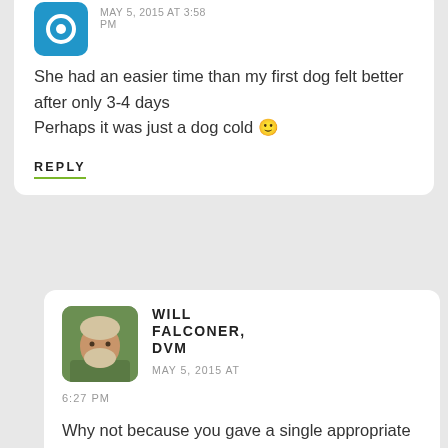[Figure (other): Blue avatar icon with circular eye/lens symbol]
She had an easier time than my first dog felt better after only 3-4 days
Perhaps it was just a dog cold 🙂
REPLY
[Figure (photo): Photo of Will Falconer, DVM - bearded man]
WILL FALCONER, DVM
MAY 5, 2015 AT 6:27 PM
Why not because you gave a single appropriate remedy?
That's what a correct remedy